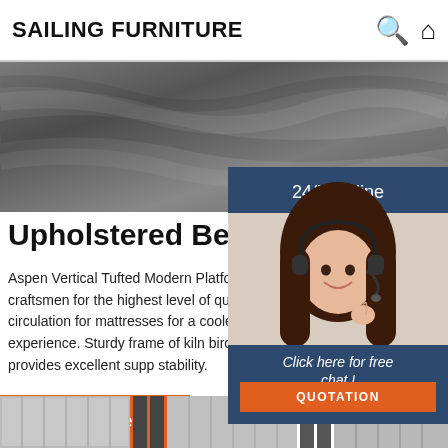SAILING FURNITURE
[Figure (photo): Gray fabric/textile hero banner image]
24/7 Online
[Figure (photo): Customer support woman wearing headset, smiling]
Click here for free chat !
QUOTATION
Upholstered Beds
Aspen Vertical Tufted Modern Platform Bed. Handma furniture craftsmen for the highest level of quality. Pl offers better air circulation for mattresses for a coole comfortable sleeping experience. Sturdy frame of kiln birch hardwood and plywood provides excellent supp stability.
Get Price
[Figure (photo): Bottom strip of bed/furniture product thumbnail images]